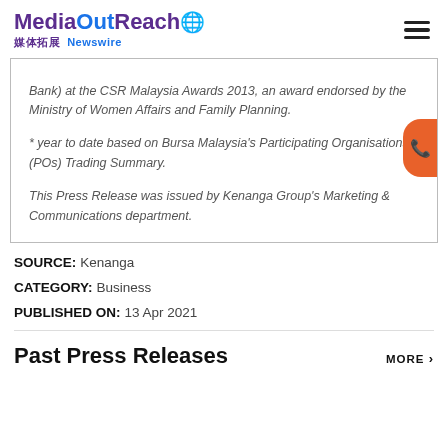MediaOutReach 媒体拓展 Newswire
Bank) at the CSR Malaysia Awards 2013, an award endorsed by the Ministry of Women Affairs and Family Planning.
* year to date based on Bursa Malaysia's Participating Organisations (POs) Trading Summary.
This Press Release was issued by Kenanga Group's Marketing & Communications department.
SOURCE: Kenanga
CATEGORY: Business
PUBLISHED ON: 13 Apr 2021
Past Press Releases